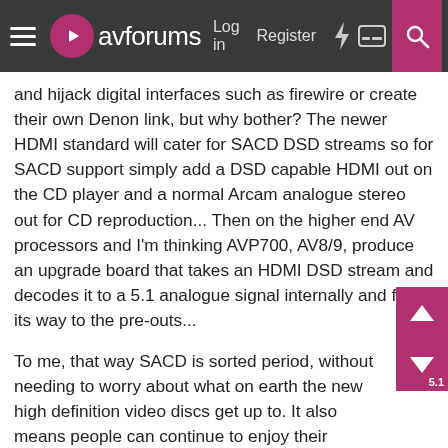avforums — Log in | Register
and hijack digital interfaces such as firewire or create their own Denon link, but why bother? The newer HDMI standard will cater for SACD DSD streams so for SACD support simply add a DSD capable HDMI out on the CD player and a normal Arcam analogue stereo out for CD reproduction... Then on the higher end AV processors and I'm thinking AVP700, AV8/9, produce an upgrade board that takes an HDMI DSD stream and decodes it to a 5.1 analogue signal internally and finds its way to the pre-outs...
To me, that way SACD is sorted period, without needing to worry about what on earth the new high definition video discs get up to. It also means people can continue to enjoy their existing high quality Arcam DVD players while we wait to see who wins the format war... Perhaps for the top end FMJ line, Arcam could even provide built in SACD 5.1 decoding with analogue outs on the CD player...
In the meantime everyone is losing business. There's no way